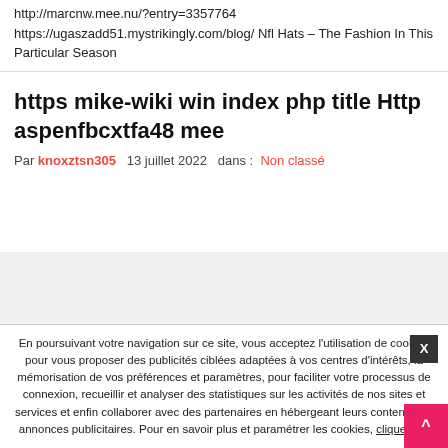http://marcnw.mee.nu/?entry=3357764
https://ugaszadd51.mystrikingly.com/blog/ Nfl Hats – The Fashion In This Particular Season
https mike-wiki win index php title Http aspenfbcxtfa48 mee
Par knoxztsn305   13 juillet 2022   dans :  Non classé
[Figure (other): Gray placeholder/ad block]
En poursuivant votre navigation sur ce site, vous acceptez l'utilisation de cookies pour vous proposer des publicités ciblées adaptées à vos centres d'intérêts, la mémorisation de vos préférences et paramètres, pour faciliter votre processus de connexion, recueillir et analyser des statistiques sur les activités de nos sites et services et enfin collaborer avec des partenaires en hébergeant leurs contenus ou annonces publicitaires. Pour en savoir plus et paramétrer les cookies, cliquez ici.